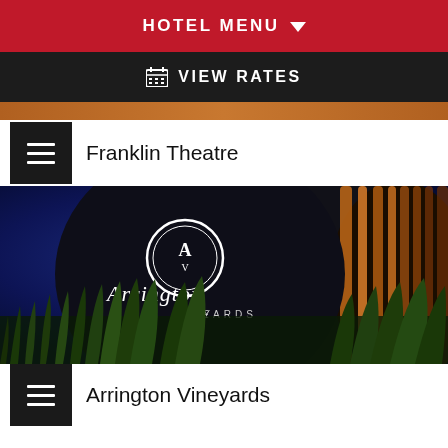HOTEL MENU
VIEW RATES
[Figure (photo): Partial top strip of a venue photo]
Franklin Theatre
[Figure (photo): Night photo of Arrington Vineyards large wine barrel with logo, surrounded by ornamental grasses lit from below, against a deep blue night sky.]
Arrington Vineyards